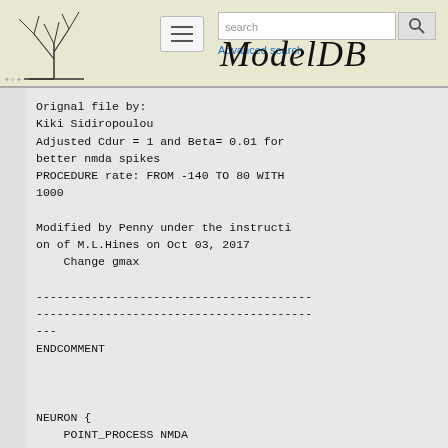ModelDB — Advanced search
Orignal file by:
Kiki Sidiropoulou
Adjusted Cdur = 1 and Beta= 0.01 for better nmda spikes
PROCEDURE rate: FROM -140 TO 80 WITH 1000

Modified by Penny under the instruction of M.L.Hines on Oct 03, 2017
    Change gmax

--------------------------------------------------------------------------------
---
ENDCOMMENT


NEURON {
    POINT_PROCESS NMDA